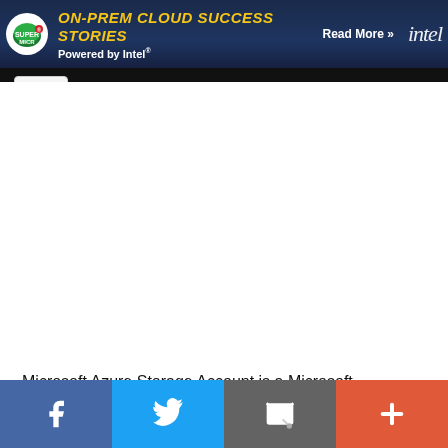[Figure (screenshot): Advertisement banner for Supermicro on-prem cloud success stories powered by Intel. Dark blue background with Supermicro logo, yellow headline text, white subtext, and Intel logo on the right.]
[Figure (screenshot): UI scroll-up arrow button (chevron/caret up) in a light grey rounded rectangle, partially overlapping a black divider bar below the banner.]
Microsoft Azure Storage Account is a Microsoft-controlled resource/service offering cloud storage that is highly accessible,
[Figure (infographic): Social sharing bar with four buttons: Facebook (blue, f icon), Twitter (light blue, bird icon), Email/envelope (grey, envelope with cursor icon), More/plus (orange-red, plus icon).]